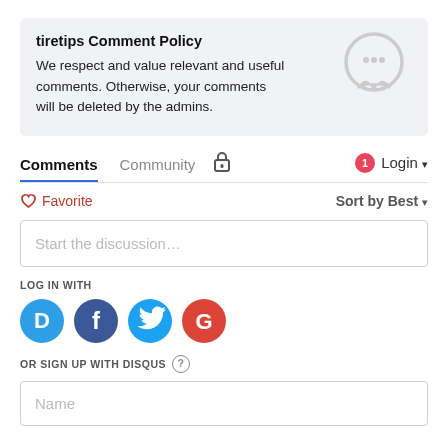tiretips Comment Policy
We respect and value relevant and useful comments. Otherwise, your comments will be deleted by the admins.
[Figure (illustration): Chat bubble icon (speech bubble with dots, light gray outline)]
Comments  Community  🔒                    1  Login ▾
♡ Favorite                                               Sort by Best ▾
Start the discussion…
LOG IN WITH
[Figure (logo): Four social login icons: Disqus (D, blue circle), Facebook (f, dark blue circle), Twitter (bird, light blue circle), Google (G, red circle)]
OR SIGN UP WITH DISQUS ?
Name